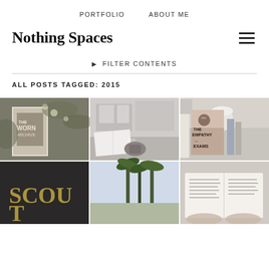PORTFOLIO   ABOUT ME
Nothing Spaces
▶ FILTER CONTENTS
ALL POSTS TAGGED: 2015
[Figure (photo): Grid of 6 photos showing books and scenes tagged 2015: The Worn Archive book, open book with person, The Empathy Exams book, Scout book, palm trees, and hands with open book]
2015